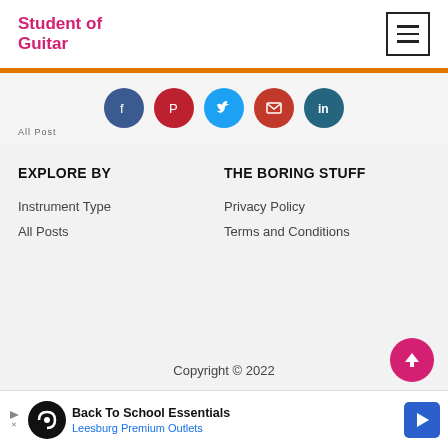Student of Guitar
[Figure (infographic): Social media share buttons: Facebook, Pinterest, Twitter, Email, LinkedIn]
EXPLORE BY
THE BORING STUFF
Instrument Type
All Posts
Privacy Policy
Terms and Conditions
Copyright © 2022
[Figure (infographic): Advertisement banner: Back To School Essentials - Leesburg Premium Outlets]